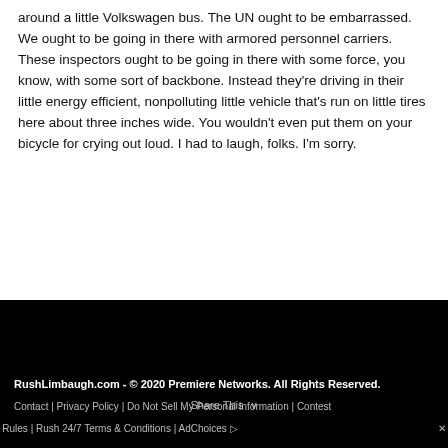around a little Volkswagen bus. The UN ought to be embarrassed.
We ought to be going in there with armored personnel carriers. These inspectors ought to be going in there with some force, you know, with some sort of backbone. Instead they're driving in their little energy efficient, nonpolluting little vehicle that's run on little tires here about three inches wide. You wouldn't even put them on your bicycle for crying out loud. I had to laugh, folks. I'm sorry.
RushLimbaugh.com - © 2020 Premiere Networks. All Rights Reserved.
Contact | Privacy Policy | Do Not Sell My Personal Information | Contest Rules | Rush 24/7 Terms & Conditions | AdChoices
Share This